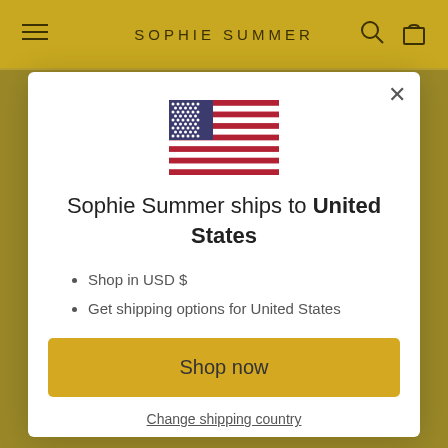SOPHIE SUMMER
[Figure (screenshot): US flag icon shown in modal dialog]
Sophie Summer ships to United States
Shop in USD $
Get shipping options for United States
Shop now
Change shipping country